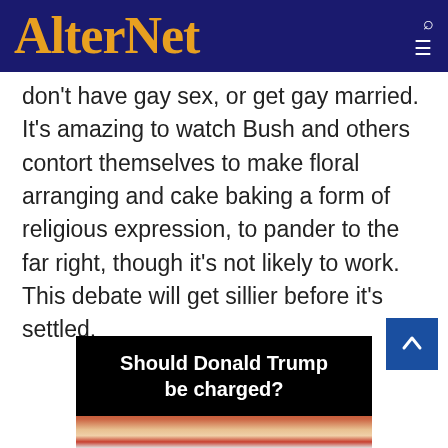AlterNet
don't have gay sex, or get gay married. It's amazing to watch Bush and others contort themselves to make floral arranging and cake baking a form of religious expression, to pander to the far right, though it's not likely to work. This debate will get sillier before it's settled.
[Figure (photo): Advertisement banner with text 'Should Donald Trump be charged?' over a black background, with a photo of Donald Trump below]